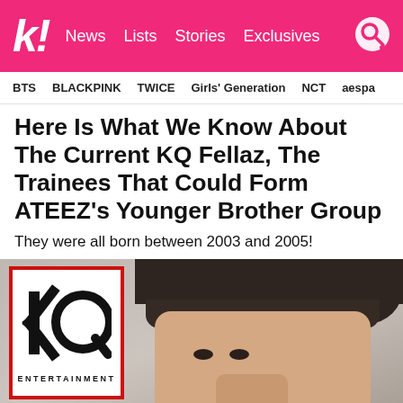k! News Lists Stories Exclusives
BTS BLACKPINK TWICE Girls' Generation NCT aespa
Here Is What We Know About The Current KQ Fellaz, The Trainees That Could Form ATEEZ’s Younger Brother Group
They were all born between 2003 and 2005!
[Figure (photo): Photo showing a young man with a bowl cut hairstyle against a background with KQ Entertainment logo overlay (white box with red border, featuring KQ logo and ENTERTAINMENT text)]